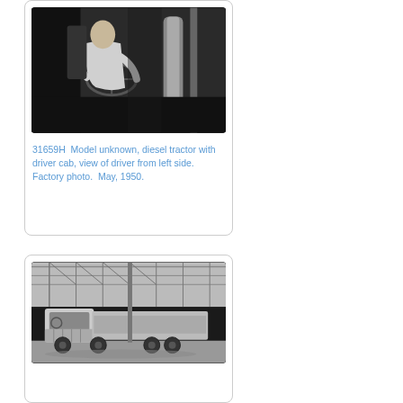[Figure (photo): Black and white photo of a diesel tractor cab interior, view of driver from left side. Driver in white shirt visible at steering wheel with cylindrical tanks/equipment nearby.]
31659H  Model unknown, diesel tractor with driver cab, view of driver from left side. Factory photo.  May, 1950.
[Figure (photo): Black and white factory/industrial photo showing a large truck or diesel tractor with trailer in an industrial facility with overhead structural framework visible.]